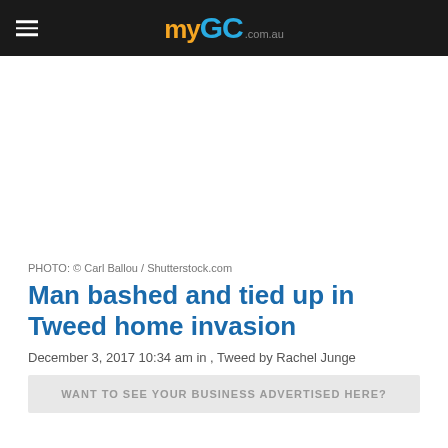myGC.com.au
PHOTO: © Carl Ballou / Shutterstock.com
Man bashed and tied up in Tweed home invasion
December 3, 2017 10:34 am in , Tweed by Rachel Junge
WANT TO SEE YOUR BUSINESS ADVERTISED HERE?